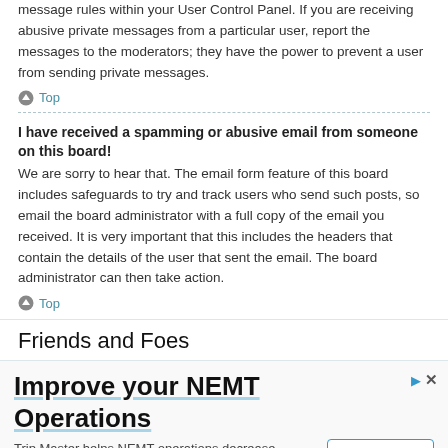message rules within your User Control Panel. If you are receiving abusive private messages from a particular user, report the messages to the moderators; they have the power to prevent a user from sending private messages.
Top
I have received a spamming or abusive email from someone on this board!
We are sorry to hear that. The email form feature of this board includes safeguards to try and track users who send such posts, so email the board administrator with a full copy of the email you received. It is very important that this includes the headers that contain the details of the user that sent the email. The board administrator can then take action.
Top
Friends and Foes
[Figure (other): Advertisement for TripMaster NEMT Operations: headline 'Improve your NEMT Operations', body 'Trip Master helps NEMT operations decrease manual data entry & increase revenue. TripMaster', with a 'Contact Us' button.]